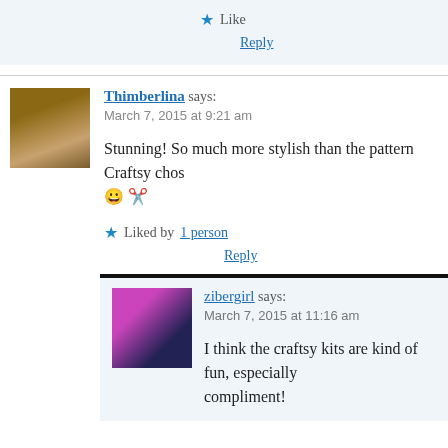Like
Reply
Thimberlina says: March 7, 2015 at 9:21 am
Stunning! So much more stylish than the pattern Craftsy chos 😀 ✂
Liked by 1 person
Reply
zibergirl says: March 7, 2015 at 11:16 am
I think the craftsy kits are kind of fun, especially compliment!